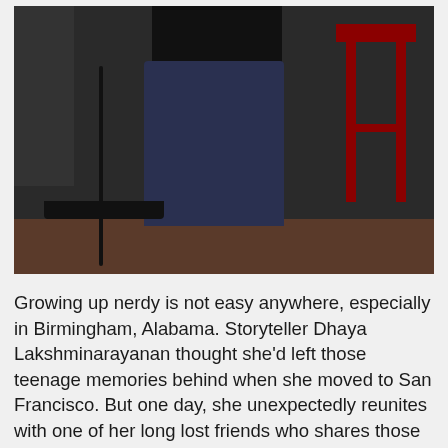[Figure (photo): A person standing and performing (storyteller/comedian), wearing dark jeans and a dark top, holding a microphone cable, in front of a dark textured wall. A red bar stool is visible to their right. The floor appears to be dark brown.]
Growing up nerdy is not easy anywhere, especially in Birmingham, Alabama. Storyteller Dhaya Lakshminarayanan thought she'd left those teenage memories behind when she moved to San Francisco. But one day, she unexpectedly reunites with one of her long lost friends who shares those high school